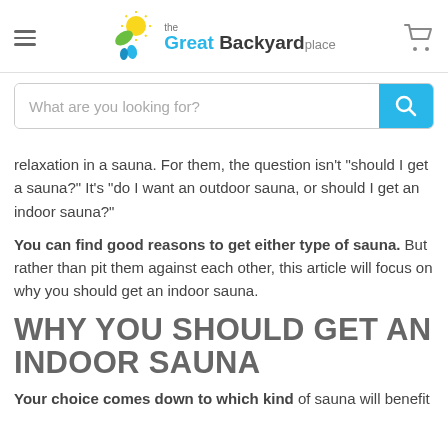the Great Backyard place
relaxation in a sauna. For them, the question isn't "should I get a sauna?" It's "do I want an outdoor sauna, or should I get an indoor sauna?"
You can find good reasons to get either type of sauna. But rather than pit them against each other, this article will focus on why you should get an indoor sauna.
WHY YOU SHOULD GET AN INDOOR SAUNA
Your choice comes down to which kind of sauna will benefit